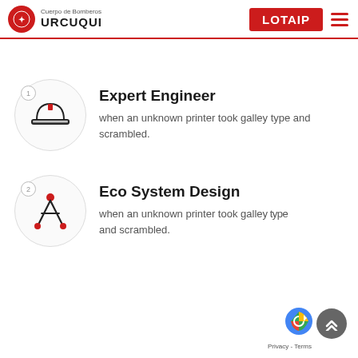Cuerpo de Bomberos URCUQUI — LOTAIP
Expert Engineer
when an unknown printer took galley type and scrambled.
Eco System Design
when an unknown printer took galley type and scrambled.
Privacy - Terms